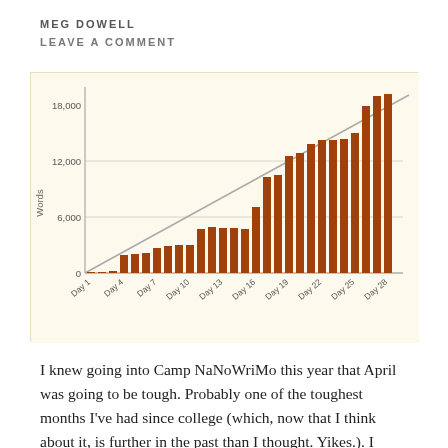MEG DOWELL
LEAVE A COMMENT
[Figure (bar-chart): Camp NaNoWriMo Words by Day]
I knew going into Camp NaNoWriMo this year that April was going to be tough. Probably one of the toughest months I've had since college (which, now that I think about it, is further in the past than I thought. Yikes.). I